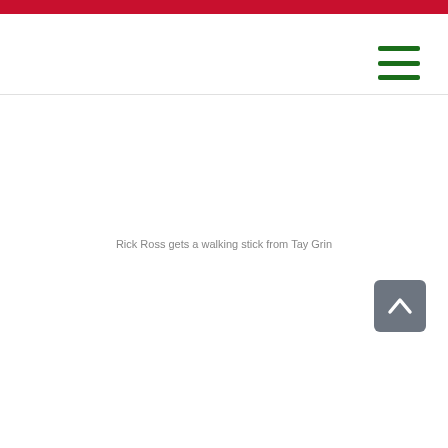Rick Ross gets a walking stick from Tay Grin
[Figure (other): Back to top button - grey rounded square button with white upward chevron arrow]